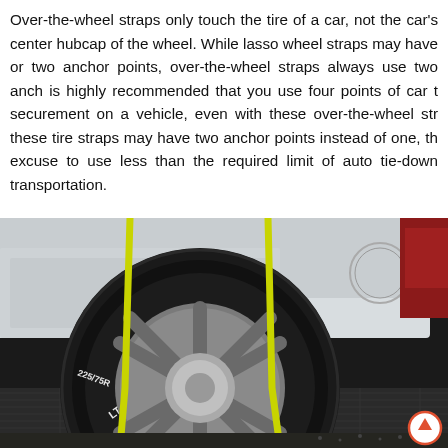Over-the-wheel straps only touch the tire of a car, not the car's center hubcap of the wheel. While lasso wheel straps may have or two anchor points, over-the-wheel straps always use two anch is highly recommended that you use four points of car t securement on a vehicle, even with these over-the-wheel str these tire straps may have two anchor points instead of one, th excuse to use less than the required limit of auto tie-down transportation.
[Figure (photo): Close-up photo of a white SUV/truck tire secured to a transport trailer using yellow over-the-wheel tie-down straps. The tire is a large black off-road tire with a silver multi-spoke alloy wheel. Two yellow straps are visible going over the tire tread on either side. A red vehicle is partially visible in the background on the right. A circular scroll-up button with an upward arrow is visible in the bottom right corner.]